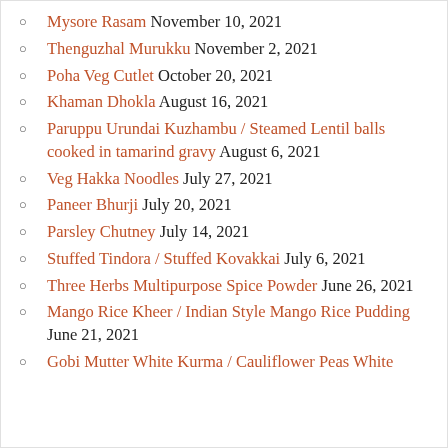Mysore Rasam November 10, 2021
Thenguzhal Murukku November 2, 2021
Poha Veg Cutlet October 20, 2021
Khaman Dhokla August 16, 2021
Paruppu Urundai Kuzhambu / Steamed Lentil balls cooked in tamarind gravy August 6, 2021
Veg Hakka Noodles July 27, 2021
Paneer Bhurji July 20, 2021
Parsley Chutney July 14, 2021
Stuffed Tindora / Stuffed Kovakkai July 6, 2021
Three Herbs Multipurpose Spice Powder June 26, 2021
Mango Rice Kheer / Indian Style Mango Rice Pudding June 21, 2021
Gobi Mutter White Kurma / Cauliflower Peas White